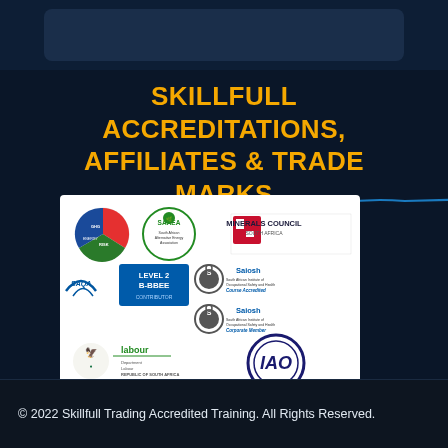SKILLFULL ACCREDITATIONS, AFFILIATES & TRADE MARKS
[Figure (logo): Collection of accreditation logos including SAQA, Level 2 B-BBEE Contributor, Minerals Council South Africa, SAAEO Alternative Energy Association, Saiosh Course Accredited, Saiosh Corporate Member, Department of Labour Republic of South Africa, IAO, COMSOC, QCTO Accredited]
© 2022 Skillfull Trading Accredited Training. All Rights Reserved.